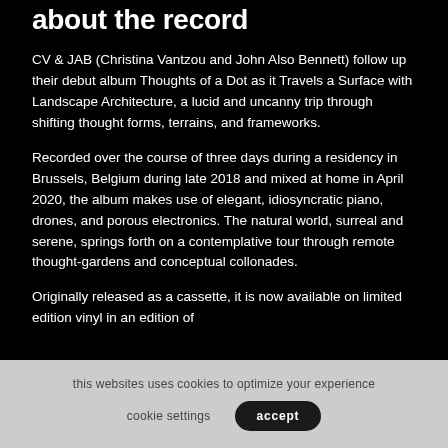about the record
CV & JAB (Christina Vantzou and John Also Bennett) follow up their debut album Thoughts of a Dot as it Travels a Surface with Landscape Architecture, a lucid and uncanny trip through shifting thought forms, terrains, and frameworks.
Recorded over the course of three days during a residency in Brussels, Belgium during late 2018 and mixed at home in April 2020, the album makes use of elegant, idiosyncratic piano, drones, and porous electronics. The natural world, surreal and serene, springs forth on a contemplative tour through remote thought-gardens and conceptual collonades.
Originally released as a cassette, it is now available on limited edition vinyl in an edition of
this websites uses cookies to optimize your experience  cookie settings  accept